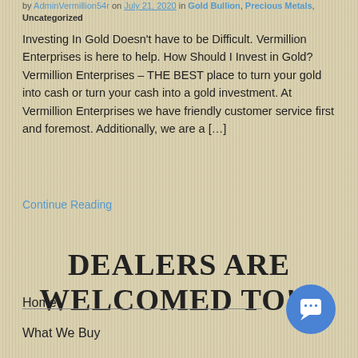by AdminVermillion54r on July 21, 2020 in Gold Bullion, Precious Metals, Uncategorized
Investing In Gold Doesn't have to be Difficult. Vermillion Enterprises is here to help. How Should I Invest in Gold? Vermillion Enterprises – THE BEST place to turn your gold into cash or turn your cash into a gold investment. At Vermillion Enterprises we have friendly customer service first and foremost. Additionally, we are a […]
Continue Reading
DEALERS ARE WELCOMED TO!!!
Home
What We Buy